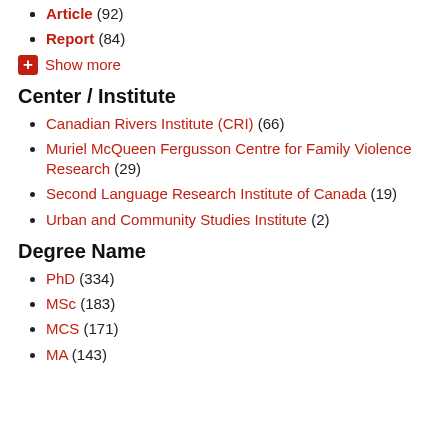Article (92)
Report (84)
Show more
Center / Institute
Canadian Rivers Institute (CRI) (66)
Muriel McQueen Fergusson Centre for Family Violence Research (29)
Second Language Research Institute of Canada (19)
Urban and Community Studies Institute (2)
Degree Name
PhD (334)
MSc (183)
MCS (171)
MA (143)